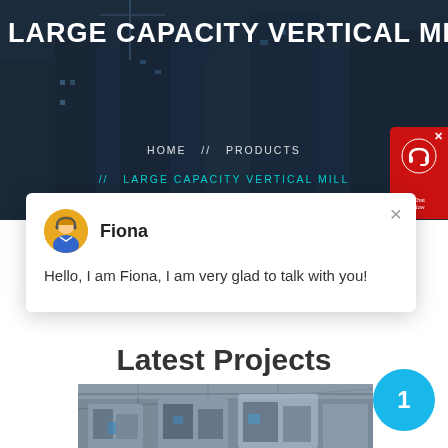[Figure (photo): Dark overlay hero background showing city construction skyline with cranes and buildings]
LARGE CAPACITY VERTICAL MIL
HOME // PRODUCTS // LARGE CAPACITY VERTICAL MILL
[Figure (screenshot): Live chat popup with avatar of Fiona saying: Hello, I am Fiona, I am very glad to talk with you!]
Latest Projects
[Figure (photo): Industrial machinery photo showing large vertical mill equipment in a factory setting]